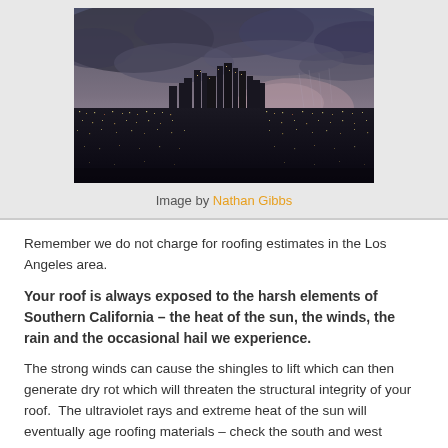[Figure (photo): Aerial/elevated panoramic view of Los Angeles skyline at dusk/night with stormy cloudy sky and city lights visible]
Image by Nathan Gibbs
Remember we do not charge for roofing estimates in the Los Angeles area.
Your roof is always exposed to the harsh elements of Southern California – the heat of the sun, the winds, the rain and the occasional hail we experience.
The strong winds can cause the shingles to lift which can then generate dry rot which will threaten the structural integrity of your roof.  The ultraviolet rays and extreme heat of the sun will eventually age roofing materials – check the south and west surfaces, especially. When the winds…